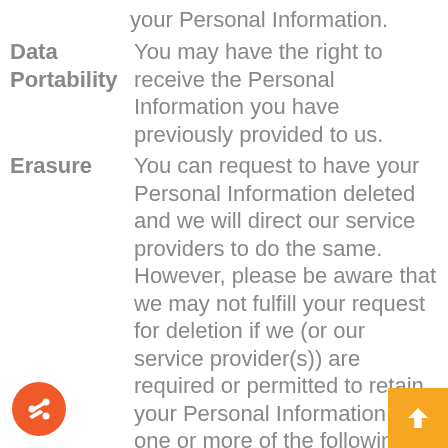your Personal Information.
Data Portability	You may have the right to receive the Personal Information you have previously provided to us.
Erasure	You can request to have your Personal Information deleted and we will direct our service providers to do the same. However, please be aware that we may not fulfill your request for deletion if we (or our service provider(s)) are required or permitted to retain your Personal Information for one or more of the following categories of purposes: (1) to complete a transaction for which the Personal Information was collected, provide a good or service requested by you, or complete a contract between us and you; (2) to ensure our Site